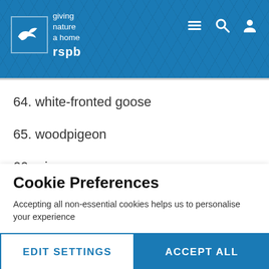[Figure (logo): RSPB logo with bird silhouette and tagline 'giving nature a home', on blue textured header with hamburger menu, search, and profile icons]
64. white-fronted goose
65. woodpigeon
66. wigeon
67. whooper swan
Cookie Preferences
Accepting all non-essential cookies helps us to personalise your experience
EDIT SETTINGS
ACCEPT ALL